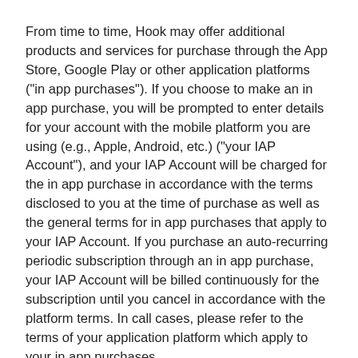From time to time, Hook may offer additional products and services for purchase through the App Store, Google Play or other application platforms ("in app purchases"). If you choose to make an in app purchase, you will be prompted to enter details for your account with the mobile platform you are using (e.g., Apple, Android, etc.) ("your IAP Account"), and your IAP Account will be charged for the in app purchase in accordance with the terms disclosed to you at the time of purchase as well as the general terms for in app purchases that apply to your IAP Account. If you purchase an auto-recurring periodic subscription through an in app purchase, your IAP Account will be billed continuously for the subscription until you cancel in accordance with the platform terms. In call cases, please refer to the terms of your application platform which apply to your in app purchases.
If you purchase an auto-recurring periodic subscription through an in app purchase, your IAP Account will be billed continuously for the subscription until you cancel. After your initial subscription commitment period, and again after any